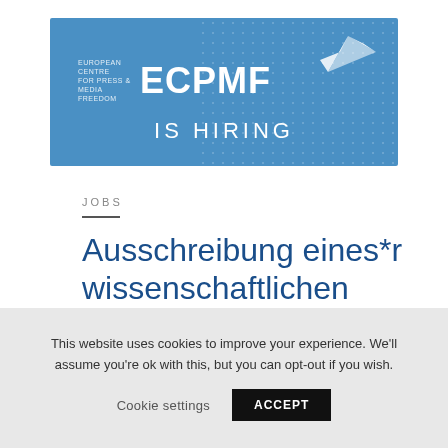[Figure (logo): ECPMF – European Centre for Press & Media Freedom logo with bird icon and 'IS HIRING' text on blue background with dot pattern]
JOBS
Ausschreibung eines*r wissenschaftlichen Mitarbeiter*in/